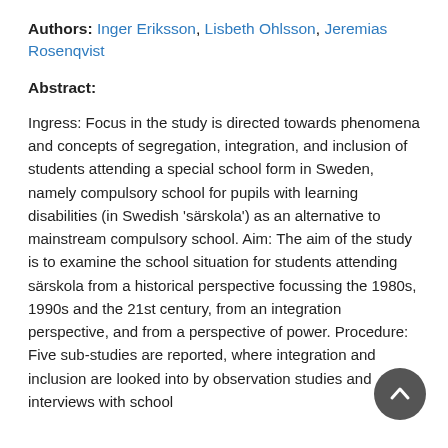Authors: Inger Eriksson, Lisbeth Ohlsson, Jeremias Rosenqvist
Abstract:
Ingress: Focus in the study is directed towards phenomena and concepts of segregation, integration, and inclusion of students attending a special school form in Sweden, namely compulsory school for pupils with learning disabilities (in Swedish 'särskola') as an alternative to mainstream compulsory school. Aim: The aim of the study is to examine the school situation for students attending särskola from a historical perspective focussing the 1980s, 1990s and the 21st century, from an integration perspective, and from a perspective of power. Procedure: Five sub-studies are reported, where integration and inclusion are looked into by observation studies and interviews with school